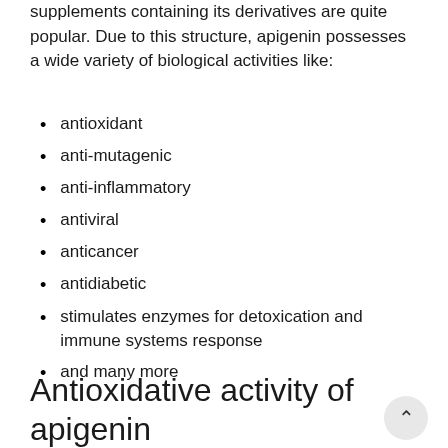supplements containing its derivatives are quite popular. Due to this structure, apigenin possesses a wide variety of biological activities like:
antioxidant
anti-mutagenic
anti-inflammatory
antiviral
anticancer
antidiabetic
stimulates enzymes for detoxication and immune systems response
and many more
Antioxidative activity of apigenin